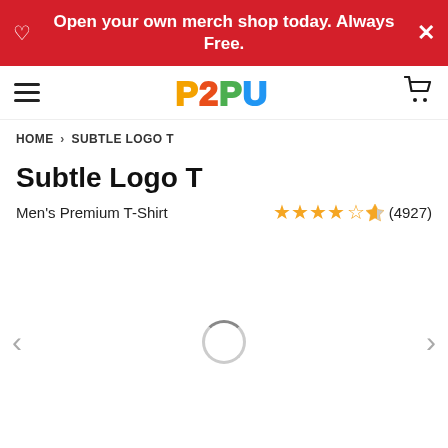Open your own merch shop today. Always Free.
[Figure (logo): P2PU colorful collegiate-style logo]
HOME > SUBTLE LOGO T
Subtle Logo T
Men's Premium T-Shirt  ★★★★½ (4927)